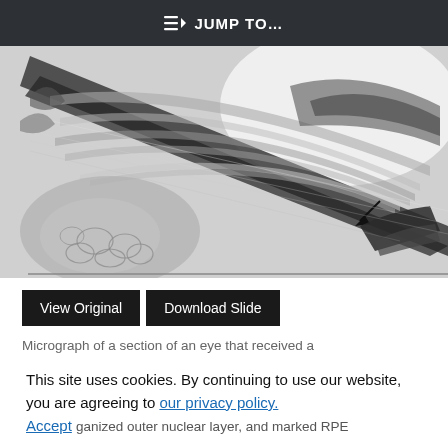JUMP TO…
[Figure (photo): Grayscale micrograph of a cross-section of an eye tissue, showing layered structures including what appears to be retinal layers, with dark pigmented regions and fibrous tissue visible at various angles.]
View Original   Download Slide
Micrograph of a section of an eye that received a
This site uses cookies. By continuing to use our website, you are agreeing to our privacy policy. Accept